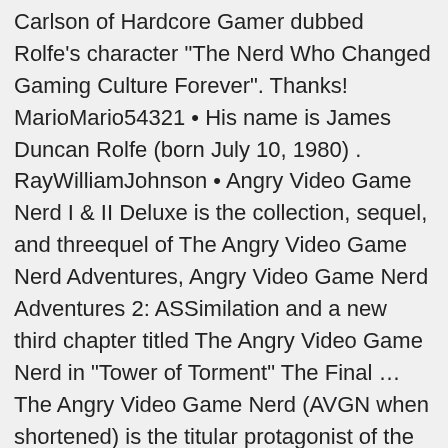Carlson of Hardcore Gamer dubbed Rolfe's character "The Nerd Who Changed Gaming Culture Forever". Thanks! MarioMario54321 • His name is James Duncan Rolfe (born July 10, 1980) . RayWilliamJohnson • Angry Video Game Nerd I & II Deluxe is the collection, sequel, and threequel of The Angry Video Game Nerd Adventures, Angry Video Game Nerd Adventures 2: ASSimilation and a new third chapter titled The Angry Video Game Nerd in "Tower of Torment" The Final … The Angry Video Game Nerd (AVGN when shortened) is the titular protagonist of the web series of the same name from Cinemassacre.com. Programmer and musician Lachlan Barclay published a soundtrack album based on the web-series in 2011. buttonlabel=Create new article [22] James Rolfe himself appeared as the Nerd at various gaming and internet conventions. Foil Arms and Hog • This video was brought to you by Raycon! [27]. On July 21, 2014, an independent film based on the series, entitled Angry Video Game Nerd: The Movie, was released online as well as limited theatrical releases, with DVD and Blu-ray versions